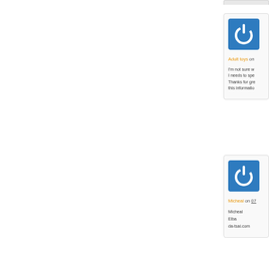[Figure (logo): Blue square icon with white power/on button symbol (circle with vertical line notch at top)]
Adult toys on
I'm not sure w I needs to spe Thanks for gre this informatio
[Figure (logo): Blue square icon with white power/on button symbol (circle with vertical line notch at top)]
Micheal on 07
Micheal Elba da-tsai.com